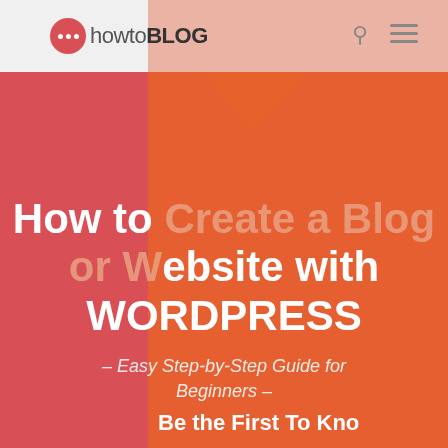howtoBLOG
How to Create a Blog or Website with WORDPRESS
– Easy Step-by-Step Guide for Beginners –
Be the First To Kno